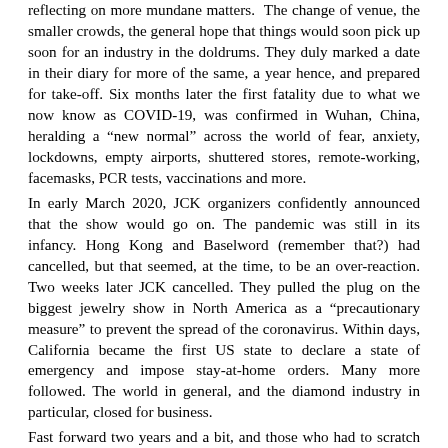reflecting on more mundane matters.  The change of venue, the smaller crowds, the general hope that things would soon pick up soon for an industry in the doldrums. They duly marked a date in their diary for more of the same, a year hence, and prepared for take-off. Six months later the first fatality due to what we now know as COVID-19, was confirmed in Wuhan, China, heralding a “new normal” across the world of fear, anxiety, lockdowns, empty airports, shuttered stores, remote-working, facemasks, PCR tests, vaccinations and more.
In early March 2020, JCK organizers confidently announced that the show would go on. The pandemic was still in its infancy. Hong Kong and Baselword (remember that?) had cancelled, but that seemed, at the time, to be an over-reaction. Two weeks later JCK cancelled. They pulled the plug on the biggest jewelry show in North America as a “precautionary measure” to prevent the spread of the coronavirus. Within days, California became the first US state to declare a state of emergency and impose stay-at-home orders. Many more followed. The world in general, and the diamond industry in particular, closed for business.
Fast forward two years and a bit, and those who had to scratch the last two Vegas dates from their diaries are now